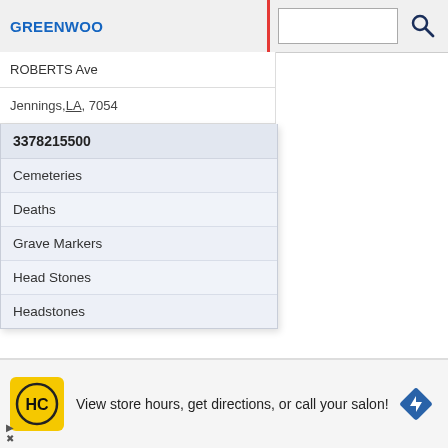GREENWOOD
[Figure (screenshot): Search input box with search icon]
ROBERTS Ave
Jennings, LA, 7054
3378215500
Cemeteries
Deaths
Grave Markers
Head Stones
Headstones
[Figure (map): Street map showing location pin in Jennings, LA area with orange road lines on beige background]
GRIFFIN REPAIR
524 E Nezpique St
gs, LA, 70546
5346
[Figure (infographic): Advertisement banner: HC logo (yellow circle with HC letters), text 'View store hours, get directions, or call your salon!', blue diamond navigation icon]